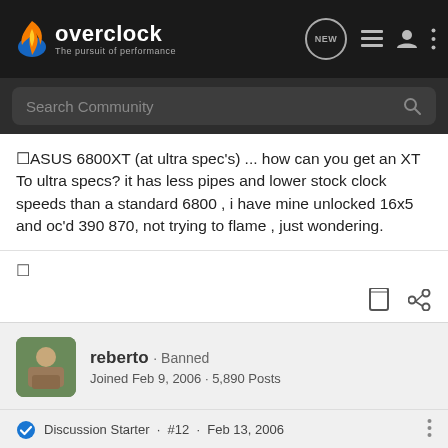[Figure (logo): Overclock.net logo with flame icon and tagline 'The pursuit of performance']
Search Community
�ASUS 6800XT (at ultra spec's) ... how can you get an XT To ultra specs? it has less pipes and lower stock clock speeds than a standard 6800 , i have mine unlocked 16x5 and oc'd 390 870, not trying to flame , just wondering.
�
reberto · Banned
Joined Feb 9, 2006 · 5,890 Posts
Discussion Starter · #12 · Feb 13, 2006